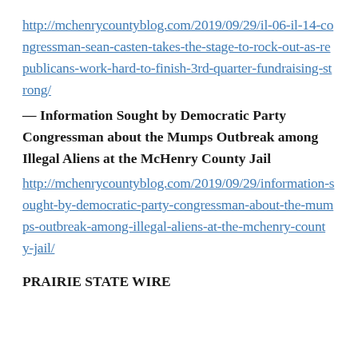http://mchenrycountyblog.com/2019/09/29/il-06-il-14-congressman-sean-casten-takes-the-stage-to-rock-out-as-republicans-work-hard-to-finish-3rd-quarter-fundraising-strong/
— Information Sought by Democratic Party Congressman about the Mumps Outbreak among Illegal Aliens at the McHenry County Jail
http://mchenrycountyblog.com/2019/09/29/information-sought-by-democratic-party-congressman-about-the-mumps-outbreak-among-illegal-aliens-at-the-mchenry-county-jail/
PRAIRIE STATE WIRE